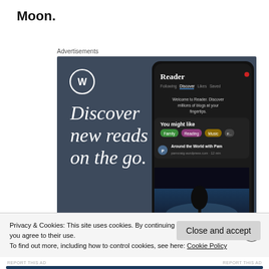Moon.
Advertisements
[Figure (screenshot): WordPress app advertisement showing 'Discover new reads on the go.' with WordPress logo, app Reader UI mockup with 'You might like' section showing topic tags and 'Around the World with Pam' blog, and 'GET THE APP' call to action on dark blue-grey background.]
Privacy & Cookies: This site uses cookies. By continuing to use this website, you agree to their use.
To find out more, including how to control cookies, see here: Cookie Policy
Close and accept